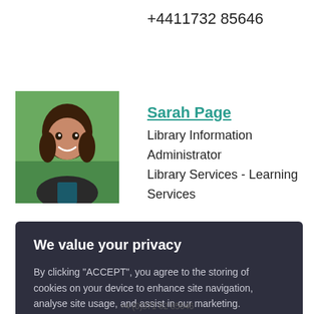+4411732 85646
[Figure (photo): Profile photo of Sarah Page, a young woman smiling outdoors]
Sarah Page
Library Information Administrator
Library Services - Learning Services
We value your privacy
By clicking "ACCEPT", you agree to the storing of cookies on your device to enhance site navigation, analyse site usage, and assist in our marketing.
ACCEPT
VIEW COOKIE SETTINGS